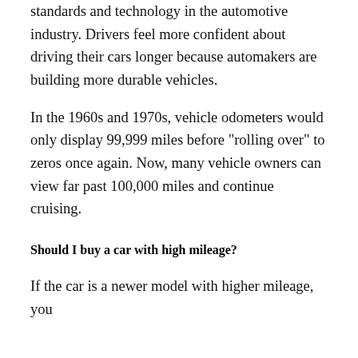standards and technology in the automotive industry. Drivers feel more confident about driving their cars longer because automakers are building more durable vehicles.
In the 1960s and 1970s, vehicle odometers would only display 99,999 miles before "rolling over" to zeros once again. Now, many vehicle owners can view far past 100,000 miles and continue cruising.
Should I buy a car with high mileage?
If the car is a newer model with higher mileage, you